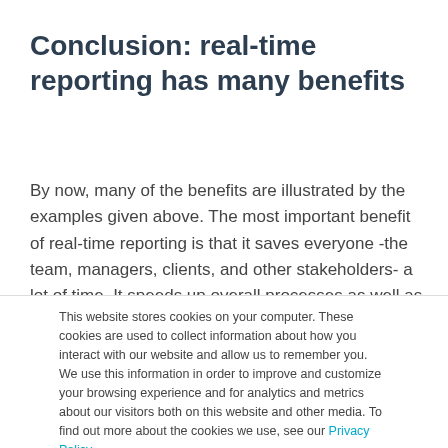Conclusion: real-time reporting has many benefits
By now, many of the benefits are illustrated by the examples given above. The most important benefit of real-time reporting is that it saves everyone -the team, managers, clients, and other stakeholders- a lot of time. It speeds up overall processes as well as decision-making.
This website stores cookies on your computer. These cookies are used to collect information about how you interact with our website and allow us to remember you. We use this information in order to improve and customize your browsing experience and for analytics and metrics about our visitors both on this website and other media. To find out more about the cookies we use, see our Privacy Policy